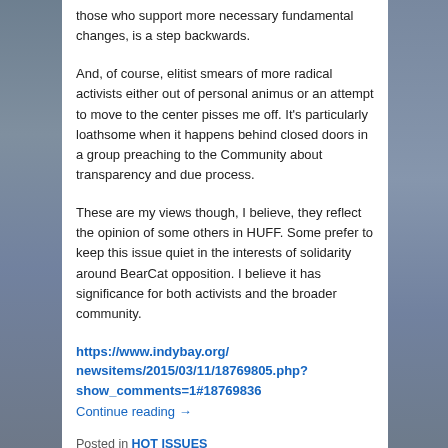those who support more necessary fundamental changes, is a step backwards.
And, of course, elitist smears of more radical activists either out of personal animus or an attempt to move to the center pisses me off. It's particularly loathsome when it happens behind closed doors in a group preaching to the Community about transparency and due process.
These are my views though, I believe, they reflect the opinion of some others in HUFF. Some prefer to keep this issue quiet in the interests of solidarity around BearCat opposition. I believe it has significance for both activists and the broader community.
https://www.indybay.org/newsitems/2015/03/11/18769805.php?show_comments=1#18769836 Continue reading →
Posted in HOT ISSUES